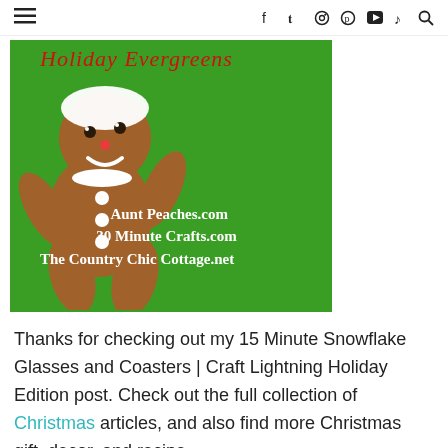≡  f  t  ○  ⓟ  ▶  ♪  🔍
[Figure (illustration): Green background image with a gingerbread man character and text reading: Holiday Evergreens (in red cursive at top), Aunt Peaches.com, 30 Minute Crafts.com, The Country Chic Cottage.net]
Thanks for checking out my 15 Minute Snowflake Glasses and Coasters | Craft Lightning Holiday Edition post. Check out the full collection of Christmas articles, and also find more Christmas gift, decor, and recipe